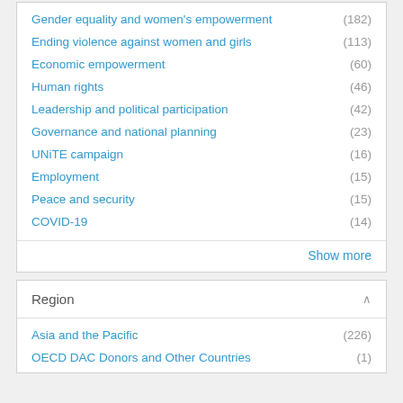Gender equality and women's empowerment (182)
Ending violence against women and girls (113)
Economic empowerment (60)
Human rights (46)
Leadership and political participation (42)
Governance and national planning (23)
UNiTE campaign (16)
Employment (15)
Peace and security (15)
COVID-19 (14)
Show more
Region
Asia and the Pacific (226)
OECD DAC Donors and Other Countries (1)